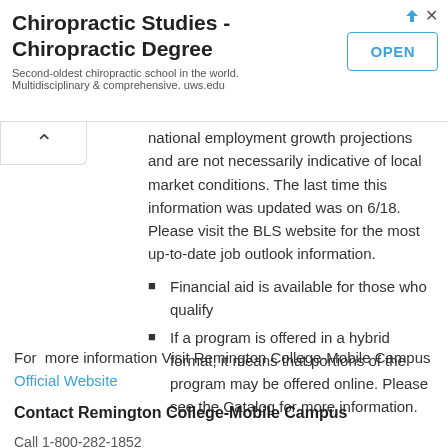[Figure (screenshot): Advertisement banner for Chiropractic Studies - Chiropractic Degree from uws.edu with an OPEN button]
national employment growth projections and are not necessarily indicative of local market conditions. The last time this information was updated was on 6/18. Please visit the BLS website for the most up-to-date job outlook information.
Financial aid is available for those who qualify
If a program is offered in a hybrid format, it means that portions of the program may be offered online. Please see the Catalog for more information.
For  more information Visit Remington College-Mobile Campus Official Website
Contact Remington College-Mobile Campus
Call 1-800-282-1852